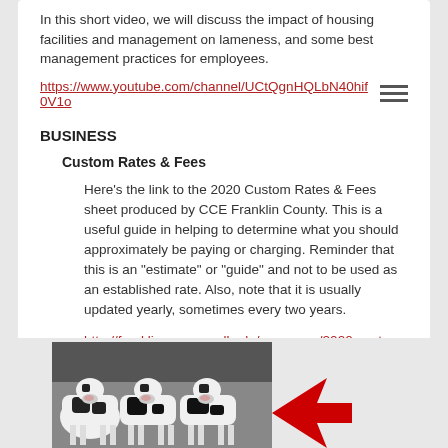In this short video, we will discuss the impact of housing facilities and management on lameness, and some best management practices for employees.
https://www.youtube.com/channel/UCtQgnHQLbN40hif0V1o
BUSINESS
Custom Rates & Fees
Here's the link to the 2020 Custom Rates & Fees sheet produced by CCE Franklin County. This is a useful guide in helping to determine what you should approximately be paying or charging. Reminder that this is an "estimate" or "guide" and not to be used as an established rate.  Also, note that it is usually updated yearly, sometimes every two years.
http://franklin.cce.cornell.edu/resources/2020-custom-rates
[Figure (photo): Black and white Holstein dairy cows standing in a row facing the camera, in what appears to be a barn or feedlot setting. A red arrow graphic is visible at the bottom right.]